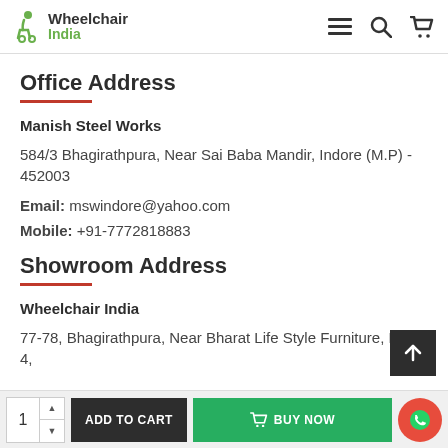Wheelchair India (logo and navigation header)
Office Address
Manish Steel Works
584/3 Bhagirathpura, Near Sai Baba Mandir, Indore (M.P) - 452003
Email: mswindore@yahoo.com
Mobile: +91-7772818883
Showroom Address
Wheelchair India
77-78, Bhagirathpura, Near Bharat Life Style Furniture, MR 4,